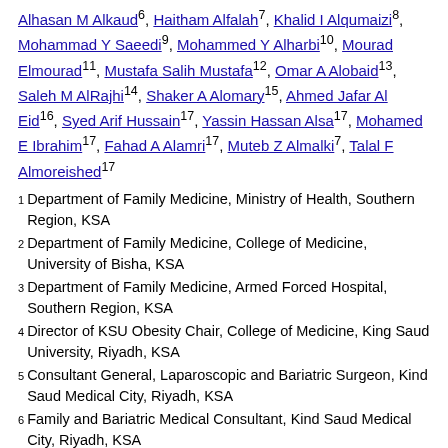Alhasan M Alkaud⁶, Haitham Alfalah⁷, Khalid I Alqumaizi⁸, Mohammad Y Saeedi⁹, Mohammed Y Alharbi¹⁰, Mourad Elmourad¹¹, Mustafa Salih Mustafa¹², Omar A Alobaid¹³, Saleh M AlRajhi¹⁴, Shaker A Alomary¹⁵, Ahmed Jafar Al Eid¹⁶, Syed Arif Hussain¹⁷, Yassin Hassan Alsa¹⁷, Mohamed E Ibrahim¹⁷, Fahad A Alamri¹⁷, Muteb Z Almalki⁷, Talal F Almoreished¹⁷
1 Department of Family Medicine, Ministry of Health, Southern Region, KSA
2 Department of Family Medicine, College of Medicine, University of Bisha, KSA
3 Department of Family Medicine, Armed Forced Hospital, Southern Region, KSA
4 Director of KSU Obesity Chair, College of Medicine, King Saud University, Riyadh, KSA
5 Consultant General, Laparoscopic and Bariatric Surgeon, Kind Saud Medical City, Riyadh, KSA
6 Family and Bariatric Medical Consultant, Kind Saud Medical City, Riyadh, KSA
7 Consultant Bariatric Surgery, Kind Saud Medical City, Riyadh, KSA